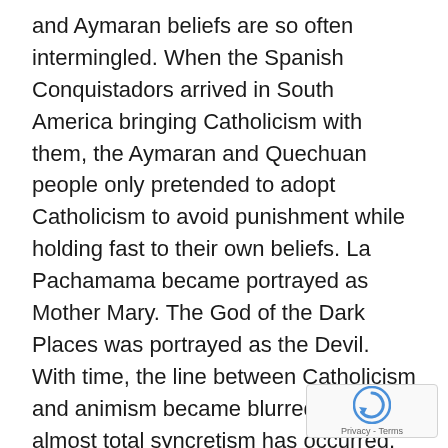and Aymaran beliefs are so often intermingled. When the Spanish Conquistadors arrived in South America bringing Catholicism with them, the Aymaran and Quechuan people only pretended to adopt Catholicism to avoid punishment while holding fast to their own beliefs. La Pachamama became portrayed as Mother Mary. The God of the Dark Places was portrayed as the Devil. With time, the line between Catholicism and animism became blurred, and almost total syncretism has occurred. For example, Catholic priests will bless Pachamama offerings being burnt at any significant event (wedding anniversaries, business openings, the completion of a new house etc.), with most people hiring a Catholic priest and an indigenous 'yatiri' to complete the celebration. The ex-president (and current president for that matter) embraced this dual faith, often attending some Catholic ceremony and the next mi— sacrificing a llama for some pagan ritual. We found it intriguing, living in a country that is still so boldly pa—
[Figure (other): Google reCAPTCHA badge with spinning arrow logo and Privacy - Terms text]